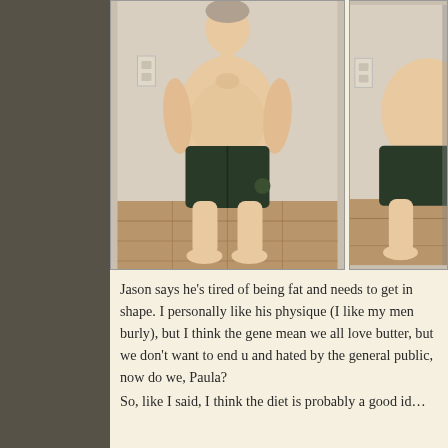[Figure (photo): Two before/after photos of a man (Jason) standing barefoot indoors against a beige wall, wearing dark athletic shorts. The left photo shows him from the front, overweight. The right photo is partially visible, cropped at the right edge.]
Jason says he’s tired of being fat and needs to get in shape. I personally like his physique (I like my men burly), but I think the general sentiment— I mean we all love butter, but we don’t want to end up mocked and hated by the general public, now do we, Paula?
So, like I said, I think the diet is probably a good id…